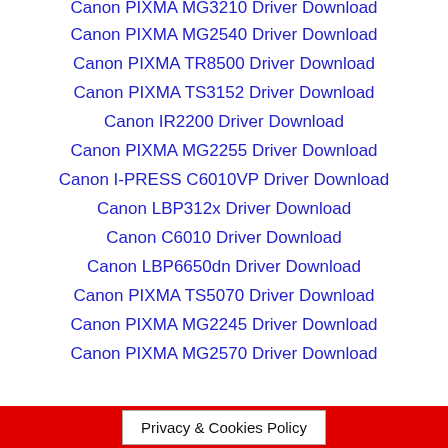Canon PIXMA MG3210 Driver Download
Canon PIXMA MG2540 Driver Download
Canon PIXMA TR8500 Driver Download
Canon PIXMA TS3152 Driver Download
Canon IR2200 Driver Download
Canon PIXMA MG2255 Driver Download
Canon I-PRESS C6010VP Driver Download
Canon LBP312x Driver Download
Canon C6010 Driver Download
Canon LBP6650dn Driver Download
Canon PIXMA TS5070 Driver Download
Canon PIXMA MG2245 Driver Download
Canon PIXMA MG2570 Driver Download
Privacy & Cookies Policy